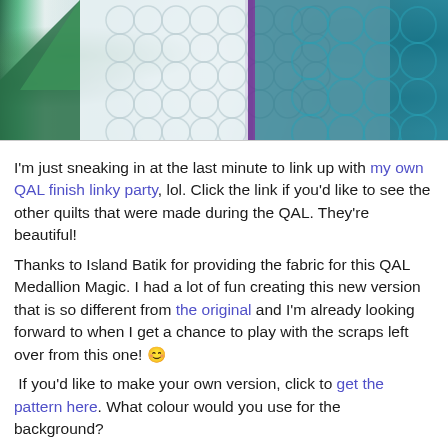[Figure (photo): Close-up photo of a quilt with white quilted background showing circular/bubble quilting pattern, green and teal fabric triangles on the left, a purple vertical strip, and teal/blue batik fabric on the right.]
I'm just sneaking in at the last minute to link up with my own QAL finish linky party, lol. Click the link if you'd like to see the other quilts that were made during the QAL. They're beautiful!
Thanks to Island Batik for providing the fabric for this QAL Medallion Magic. I had a lot of fun creating this new version that is so different from the original and I'm already looking forward to when I get a chance to play with the scraps left over from this one! 😊
If you'd like to make your own version, click to get the pattern here. What colour would you use for the background?